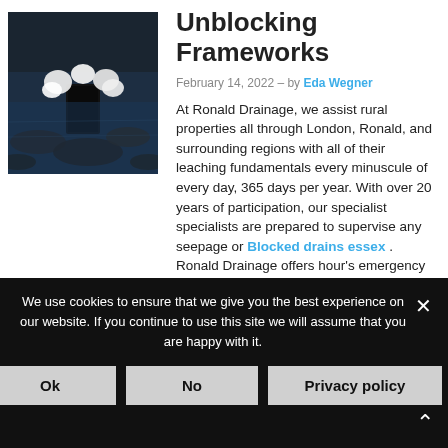[Figure (photo): Photo of a blocked drain with water and white foam/bubbles around a drain pipe set in dark rocky ground]
Unblocking Frameworks
February 14, 2022 – by Eda Wegner
At Ronald Drainage, we assist rural properties all through London, Ronald, and surrounding regions with all of their leaching fundamentals every minuscule of every day, 365 days per year. With over 20 years of participation, our specialist specialists are prepared to supervise any seepage or Blocked drains essex . Ronald Drainage offers hour's emergency callouts and a 2-hour response
We use cookies to ensure that we give you the best experience on our website. If you continue to use this site we will assume that you are happy with it.
Ok
No
Privacy policy